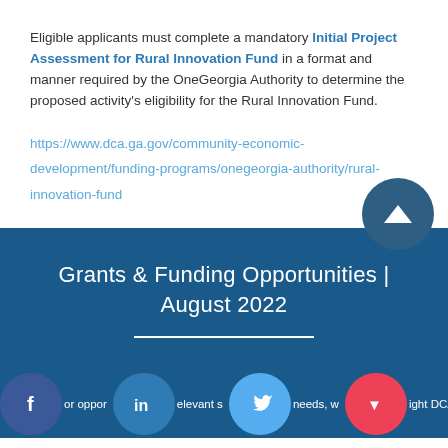Eligible applicants must complete a mandatory Initial Project Assessment for Rural Innovation Fund in a format and manner required by the OneGeorgia Authority to determine the proposed activity's eligibility for the Rural Innovation Fund.
https://www.dca.ga.gov/community-economic-development/funding-programs/onegeorgia-authority/rural-innovation-fund
Grants & Funding Opportunities | August 2022